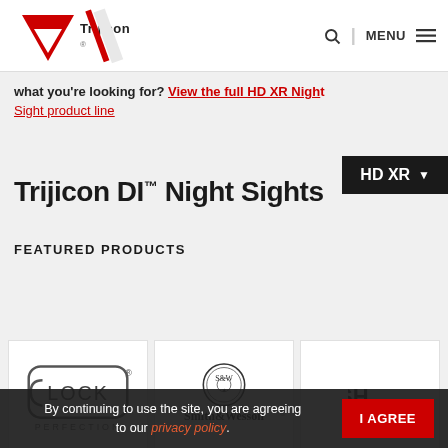[Figure (logo): Trijicon logo with red triangle and brand name, plus diagonal red/white stripe graphic]
Search | MENU
what you're looking for? View the full HD XR Night
Sight product line
HD XR ▼
Trijicon DI™ Night Sights
FEATURED PRODUCTS
[Figure (logo): Glock Perfection logo]
[Figure (logo): Smith & Wesson logo]
[Figure (logo): Partial logo (SH...) cropped at right edge]
Trijicon DI™ Night Sights for Glock™ Pistols
Trijicon DI™ Night Sights for Smith & Wesson™ Pistols
By continuing to use the site, you are agreeing to our privacy policy.
I AGREE